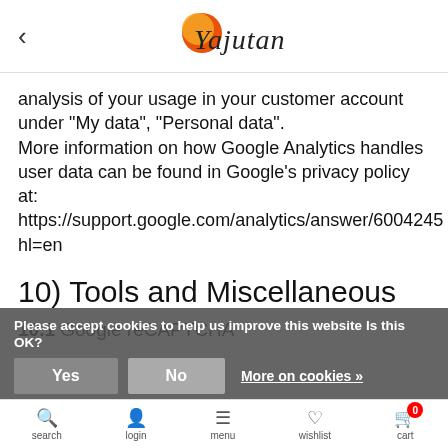Yajutang
analysis of your usage in your customer account under "My data", "Personal data". More information on how Google Analytics handles user data can be found in Google's privacy policy at: https://support.google.com/analytics/answer/6004245 hl=en
10) Tools and Miscellaneous
10.1 Google reCAPTCHA
On this website we also use the reCAPTCHA function of Google LLC, 1600 Amphitheatre Parkway...
Please accept cookies to help us improve this website Is this OK? Yes No More on cookies »